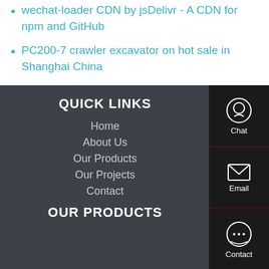wechat-loader CDN by jsDelivr - A CDN for npm and GitHub
PC200-7 crawler excavator on hot sale in Shanghai China
QUICK LINKS
Home
About Us
Our Products
Our Projects
Contact
OUR PRODUCTS
[Figure (infographic): Sidebar with Chat, Email, and Contact icons on dark background]